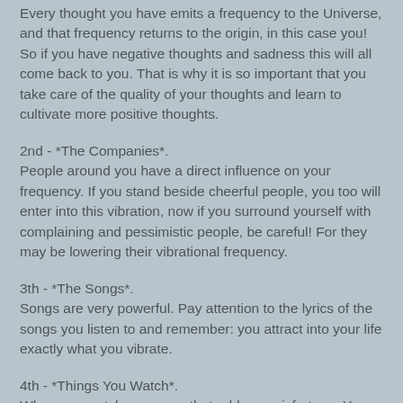Every thought you have emits a frequency to the Universe, and that frequency returns to the origin, in this case you! So if you have negative thoughts and sadness this will all come back to you. That is why it is so important that you take care of the quality of your thoughts and learn to cultivate more positive thoughts.
2nd - *The Companies*.
People around you have a direct influence on your frequency. If you stand beside cheerful people, you too will enter into this vibration, now if you surround yourself with complaining and pessimistic people, be careful! For they may be lowering their vibrational frequency.
3th - *The Songs*.
Songs are very powerful. Pay attention to the lyrics of the songs you listen to and remember: you attract into your life exactly what you vibrate.
4th - *Things You Watch*.
When you watch programs that address misfortune. Your brain accepts it as a reality and releases all the chemistry in